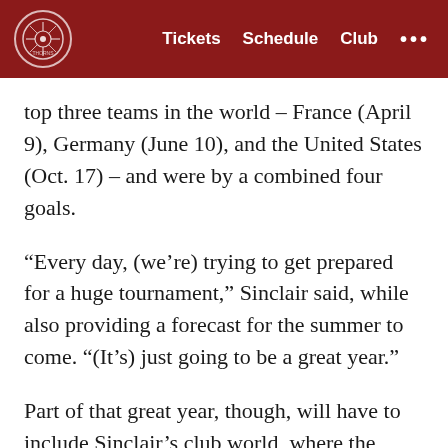Tickets  Schedule  Club  ...
top three teams in the world – France (April 9), Germany (June 10), and the United States (Oct. 17) – and were by a combined four goals.
“Every day, (we’re) trying to get prepared for a huge tournament,” Sinclair said, while also providing a forecast for the summer to come. “(It’s) just going to be a great year.”
Part of that great year, though, will have to include Sinclair’s club world, where the runners-up finish the Thorns achieved in 2018 left the then-defending champions short of their goal. A 3-0, home loss to the North Carolina Courage in the season’s final game